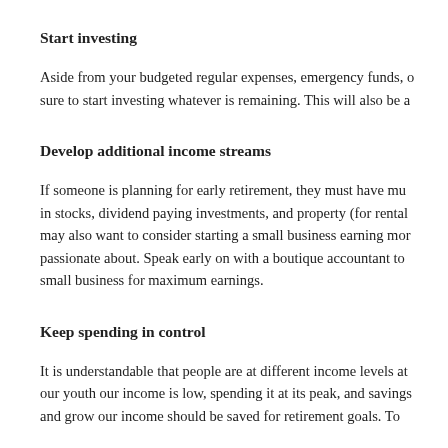Start investing
Aside from your budgeted regular expenses, emergency funds, o sure to start investing whatever is remaining. This will also be a
Develop additional income streams
If someone is planning for early retirement, they must have mu in stocks, dividend paying investments, and property (for rental may also want to consider starting a small business earning mor passionate about. Speak early on with a boutique accountant to small business for maximum earnings.
Keep spending in control
It is understandable that people are at different income levels at our youth our income is low, spending it at its peak, and savings and grow our income should be saved for retirement goals. To